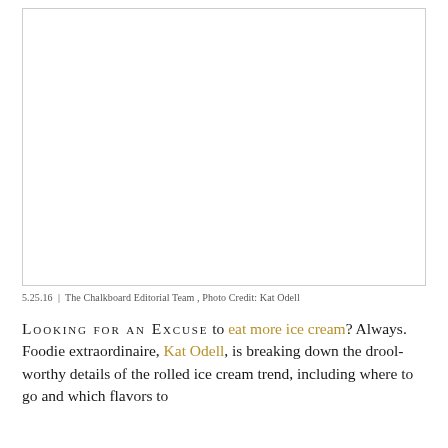[Figure (photo): Large rectangular image placeholder with white background and light gray border — a photo of rolled ice cream (image content not visible in scan)]
5.25.16  |  The Chalkboard Editorial Team , Photo Credit: Kat Odell
LOOKING FOR AN EXCUSE to eat more ice cream? Always. Foodie extraordinaire, Kat Odell, is breaking down the drool-worthy details of the rolled ice cream trend, including where to go and which flavors to